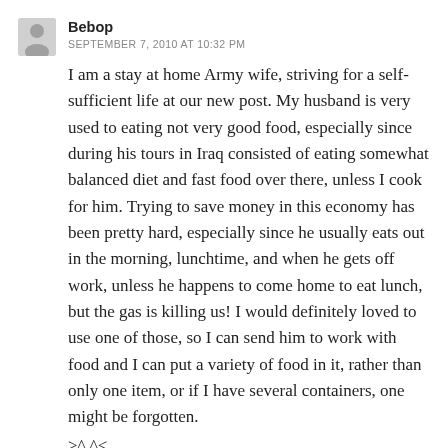Bebop
SEPTEMBER 7, 2010 AT 10:32 PM
I am a stay at home Army wife, striving for a self-sufficient life at our new post. My husband is very used to eating not very good food, especially since during his tours in Iraq consisted of eating somewhat balanced diet and fast food over there, unless I cook for him. Trying to save money in this economy has been pretty hard, especially since he usually eats out in the morning, lunchtime, and when he gets off work, unless he happens to come home to eat lunch, but the gas is killing us! I would definitely loved to use one of those, so I can send him to work with food and I can put a variety of food in it, rather than only one item, or if I have several containers, one might be forgotten.
>^.^<
Carli
SEPTEMBER 7, 2010 AT 10:43 PM